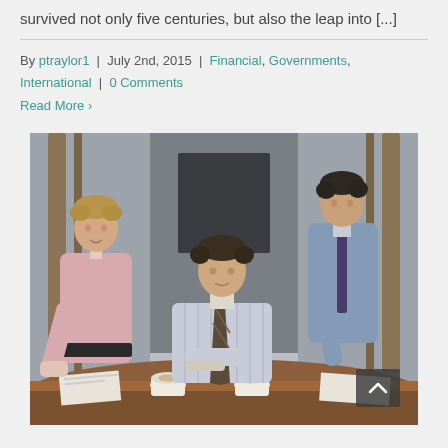survived not only five centuries, but also the leap into [...]
By ptraylor1  |  July 2nd, 2015  |  Financial, Governments, International  |  0 Comments
Read More >
[Figure (photo): Three businessmen in business casual attire looking at a laptop computer on a conference room table. One man is seated at center, one leans in from the left wearing a pink shirt, one leans in from the right wearing a blue shirt. Coffee cups and papers on the table.]